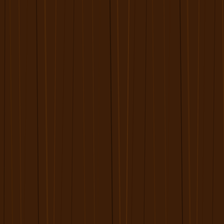[Figure (illustration): Wood grain panel texture on the left side of the page, dark brown wood pattern]
73. St. Mary's School 5 B, Gen. Bhagat Marg-Maharashtra
74. St. Mary's School Nesbit RoadMazagaon-Maharashtra
75. St. Mathews Academy Salunke Vihar RoadKondhwa-Maharashtra
76. St. Peter's School Panchgani-Maharashtra
77. St. Peter's School Shivdas Champsey RoadMazagaon-Maharashtra
78. St. Xavier's High School Matheran (Via Neral)-Maharashtra
79. Thakur Public School Western Express HighwayKandivli (E)-Maharashtra
80. The Bishop's School 5-A, Gen. Bhagat Marg-Maharashtra
81. The Scholar High School 13, Henry RoadApollo-